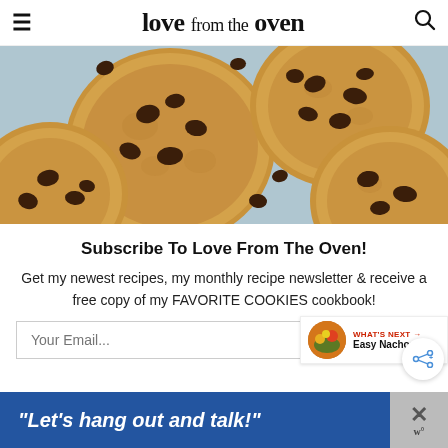love from the oven
[Figure (photo): Overhead close-up photo of chocolate chip cookies on a light blue background]
Subscribe To Love From The Oven!
Get my newest recipes, my monthly recipe newsletter & receive a free copy of my FAVORITE COOKIES cookbook!
Your Email...
“Let’s hang out and talk!”